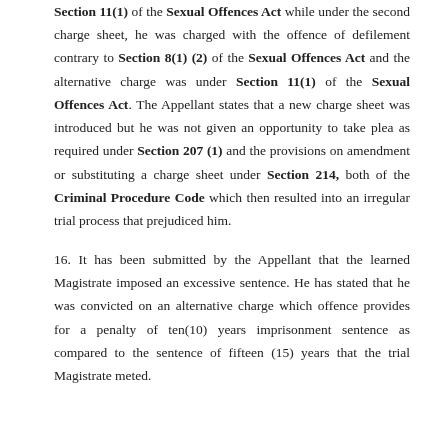Section 11(1) of the Sexual Offences Act while under the second charge sheet, he was charged with the offence of defilement contrary to Section 8(1) (2) of the Sexual Offences Act and the alternative charge was under Section 11(1) of the Sexual Offences Act. The Appellant states that a new charge sheet was introduced but he was not given an opportunity to take plea as required under Section 207 (1) and the provisions on amendment or substituting a charge sheet under Section 214, both of the Criminal Procedure Code which then resulted into an irregular trial process that prejudiced him.
16. It has been submitted by the Appellant that the learned Magistrate imposed an excessive sentence. He has stated that he was convicted on an alternative charge which offence provides for a penalty of ten(10) years imprisonment sentence as compared to the sentence of fifteen (15) years that the trial Magistrate meted.